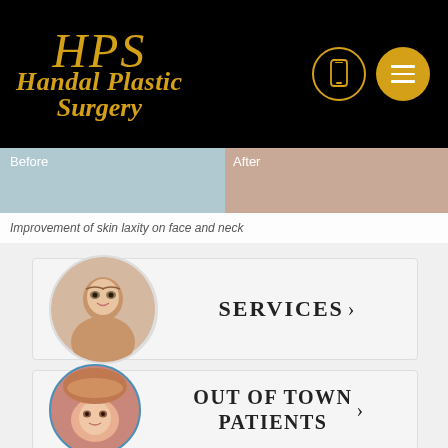[Figure (logo): HPS Handal Plastic Surgery logo in gold italic script on black background with phone icon and hamburger menu]
[Figure (photo): Before and After comparison images showing improvement of skin laxity on face and neck]
Improvement of skin laxity on face and neck
[Figure (photo): Circular portrait of woman's face for Services section]
SERVICES >
[Figure (photo): Circular portrait of woman wearing pink hat for Out of Town Patients section]
OUT OF TOWN PATIENTS >